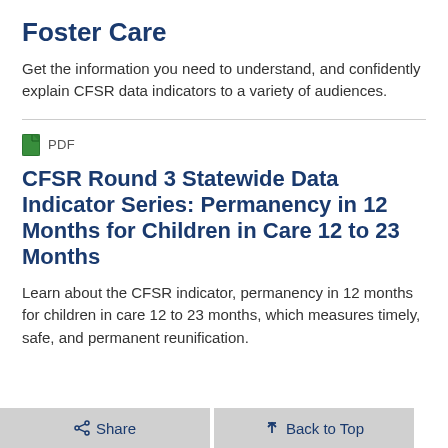Foster Care
Get the information you need to understand, and confidently explain CFSR data indicators to a variety of audiences.
PDF
CFSR Round 3 Statewide Data Indicator Series: Permanency in 12 Months for Children in Care 12 to 23 Months
Learn about the CFSR indicator, permanency in 12 months for children in care 12 to 23 months, which measures timely, safe, and permanent reunification.
Share   Back to Top